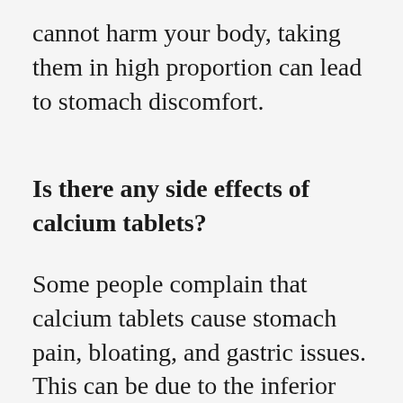cannot harm your body, taking them in high proportion can lead to stomach discomfort.
Is there any side effects of calcium tablets?
Some people complain that calcium tablets cause stomach pain, bloating, and gastric issues. This can be due to the inferior quality of the tablets or